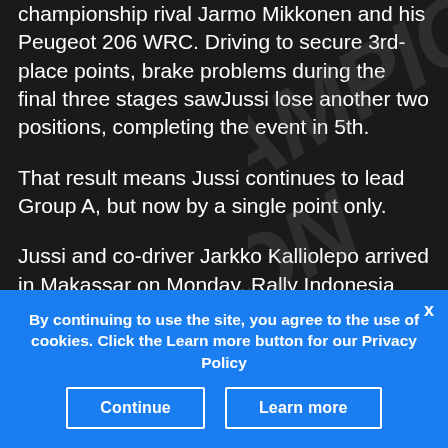championship rival Jarmo Mikkonen and his Peugeot 206 WRC. Driving to secure 3rd-place points, brake problems during the final three stages sawJussi lose another two positions, completing the event in 5th.
That result means Jussi continues to lead Group A, but now by a single point only.
Jussi and co-driver Jarkko Kalliolepo arrived in Makassar on Monday, Rally Indonesia one of the events he won on the way to his 2005 APRC championship title. For more information, photos and in car video, have a look at Jussi's web site
By continuing to use the site, you agree to the use of cookies. Click the Learn more button for our Privacy Policy
Continue
Learn more